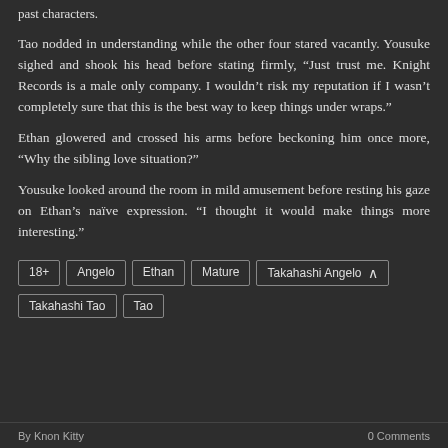past characters.
Tao nodded in understanding while the other four stared vacantly. Yousuke sighed and shook his head before stating firmly, “Just trust me. Knight Records is a male only company. I wouldn’t risk my reputation if I wasn’t completely sure that this is the best way to keep things under wraps.”
Ethan glowered and crossed his arms before beckoning him once more, “Why the sibling love situation?”
Yousuke looked around the room in mild amusement before resting his gaze on Ethan’s naïve expression. “I thought it would make things more interesting.”
18+
Angelo
Ethan
Mature
Takahashi Angelo
Takahashi Tao
Tao
By Knon Kitty   0 Comments